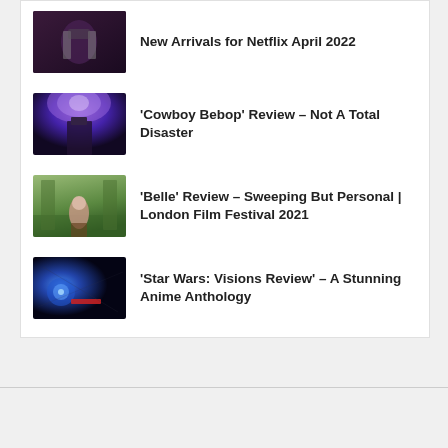[Figure (photo): Thumbnail image for Netflix April 2022 article]
New Arrivals for Netflix April 2022
[Figure (photo): Thumbnail image for Cowboy Bebop review article]
'Cowboy Bebop' Review – Not A Total Disaster
[Figure (photo): Thumbnail image for Belle review article]
'Belle' Review – Sweeping But Personal | London Film Festival 2021
[Figure (photo): Thumbnail image for Star Wars Visions review article]
'Star Wars: Visions Review' – A Stunning Anime Anthology